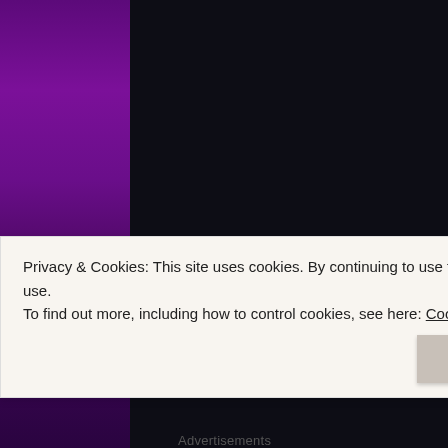[Figure (photo): A dark webpage screenshot with a purple/violet vertical bar on the left and a large dark/black panel in the center, likely showing a blog or article page.]
amul
ende
ladie
recer
didn'
And c
neph
the b
One 
poss
was s
After
t s
c
en
e
Privacy & Cookies: This site uses cookies. By continuing to use this website, you agree to their use.
To find out more, including how to control cookies, see here: Cookie Policy
Close and accept
Advertisements